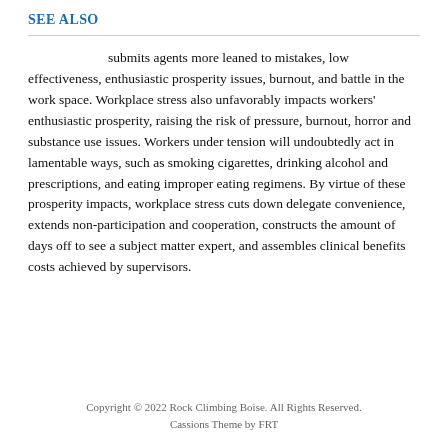SEE ALSO
submits agents more leaned to mistakes, low effectiveness, enthusiastic prosperity issues, burnout, and battle in the work space. Workplace stress also unfavorably impacts workers' enthusiastic prosperity, raising the risk of pressure, burnout, horror and substance use issues. Workers under tension will undoubtedly act in lamentable ways, such as smoking cigarettes, drinking alcohol and prescriptions, and eating improper eating regimens. By virtue of these prosperity impacts, workplace stress cuts down delegate convenience, extends non-participation and cooperation, constructs the amount of days off to see a subject matter expert, and assembles clinical benefits costs achieved by supervisors.
Copyright © 2022 Rock Climbing Boise. All Rights Reserved.
Cassions Theme by FRT